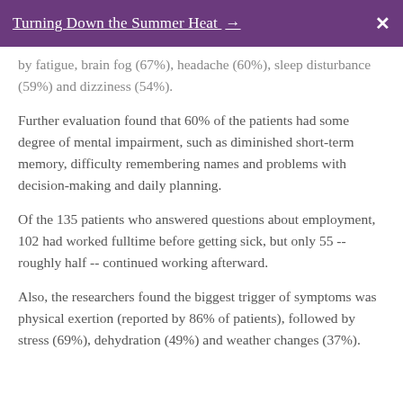Turning Down the Summer Heat →  X
by fatigue, brain fog (67%), headache (60%), sleep disturbance (59%) and dizziness (54%).
Further evaluation found that 60% of the patients had some degree of mental impairment, such as diminished short-term memory, difficulty remembering names and problems with decision-making and daily planning.
Of the 135 patients who answered questions about employment, 102 had worked fulltime before getting sick, but only 55 -- roughly half -- continued working afterward.
Also, the researchers found the biggest trigger of symptoms was physical exertion (reported by 86% of patients), followed by stress (69%), dehydration (49%) and weather changes (37%).